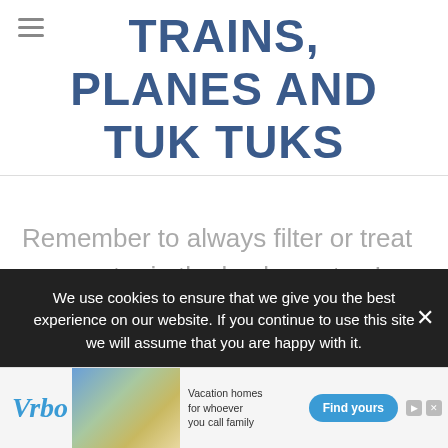TRAINS, PLANES AND TUK TUKS
Remember to always filter or treat your water in the backcountry. I use a Sawyer Squeeze and
We use cookies to ensure that we give you the best experience on our website. If you continue to use this site we will assume that you are happy with it.
[Figure (screenshot): Vrbo advertisement banner with vacation homes photo, tagline 'Vacation homes for whoever you call family', and 'Find yours' button]